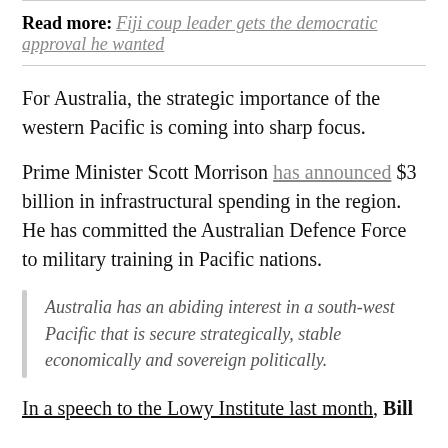Read more: Fiji coup leader gets the democratic approval he wanted
For Australia, the strategic importance of the western Pacific is coming into sharp focus.
Prime Minister Scott Morrison has announced $3 billion in infrastructural spending in the region. He has committed the Australian Defence Force to military training in Pacific nations.
Australia has an abiding interest in a south-west Pacific that is secure strategically, stable economically and sovereign politically.
In a speech to the Lowy Institute last month, Bill